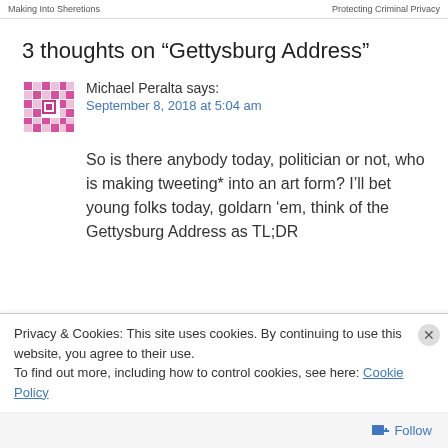Making Into Shertons   |   Protecting Criminal Privacy
3 thoughts on “Gettysburg Address”
[Figure (illustration): Pixel art avatar icon with magenta/pink geometric pattern on white background]
Michael Peralta says:
September 8, 2018 at 5:04 am
So is there anybody today, politician or not, who is making tweeting* into an art form? I’ll bet young folks today, goldarn ‘em, think of the Gettysburg Address as TL;DR
Privacy & Cookies: This site uses cookies. By continuing to use this website, you agree to their use.
To find out more, including how to control cookies, see here: Cookie Policy
Close and accept